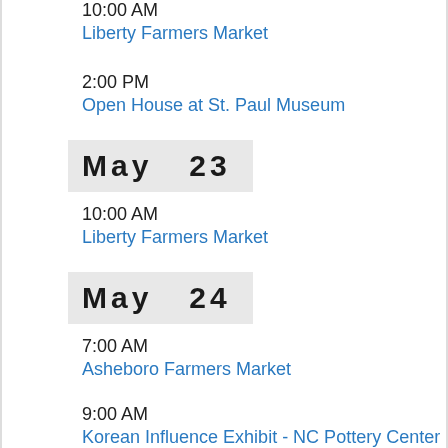10:00 AM
Liberty Farmers Market
2:00 PM
Open House at St. Paul Museum
May   23
10:00 AM
Liberty Farmers Market
May   24
7:00 AM
Asheboro Farmers Market
9:00 AM
Korean Influence Exhibit - NC Pottery Center Seagrove
10:00 AM